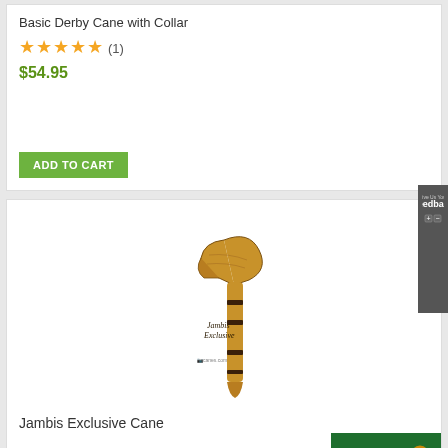Basic Derby Cane with Collar
★★★★★ (1)
$54.95
ADD TO CART
[Figure (photo): Wooden derby-handle walking cane with dark stripe detail, branded Jambis Exclusive]
Jambis Exclusive Cane
$79.95
[Figure (logo): 3dcart SSL Secure Store badge in green and gold at bottom right]
[Figure (infographic): Give Us Your Feedback tab on right side]